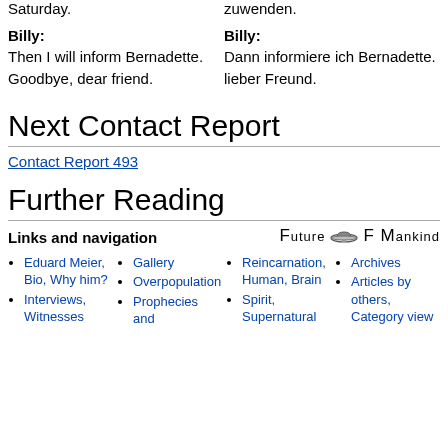Saturday.
zuwenden.
Billy:
Billy:
Then I will inform Bernadette. Goodbye, dear friend.
Dann informiere ich Bernadette. lieber Freund.
Next Contact Report
Contact Report 493
Further Reading
Links and navigation
[Figure (logo): Future of Mankind logo with stylized spaceship/UFO icon]
Eduard Meier, Bio, Why him?
Interviews, Witnesses
Gallery
Overpopulation
Prophecies and
Reincarnation, Human, Brain
Spirit, Supernatural
Archives
Articles by others, Category view